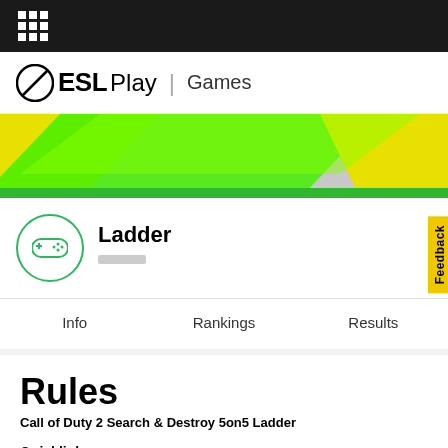ESL Play | Games
[Figure (illustration): ESL Play logo with gamepad icon, navigation bar with Games link]
[Figure (illustration): Green and yellow diagonal banner/background graphic]
Ladder
Info | Rankings | Results
Rules
Call of Duty 2 Search & Destroy 5on5 Ladder
Quicklinks
[ 7. Penalty points index ] [ 9. Game specific rules ]
1.  Rules